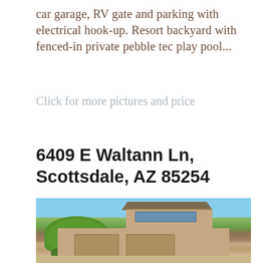car garage, RV gate and parking with electrical hook-up. Resort backyard with fenced-in private pebble tec play pool...
Click for more pictures and price
6409 E Waltann Ln, Scottsdale, AZ 85254
[Figure (photo): Exterior photo of a two-story tan/beige stucco house with a three-car garage, desert landscaping, green trees, and a clear blue sky.]